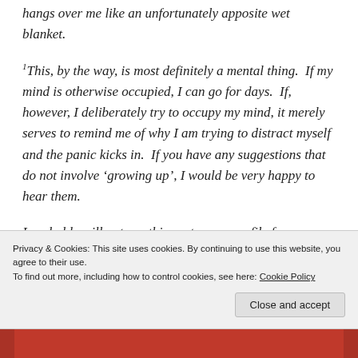hangs over me like an unfortunately apposite wet blanket.
¹This, by the way, is most definitely a mental thing.  If my mind is otherwise occupied, I can go for days.  If, however, I deliberately try to occupy my mind, it merely serves to remind me of why I am trying to distract myself and the panic kicks in.  If you have any suggestions that do not involve 'growing up', I would be very happy to hear them.
I probably will not use this post as my profile for on-
Privacy & Cookies: This site uses cookies. By continuing to use this website, you agree to their use.
To find out more, including how to control cookies, see here: Cookie Policy